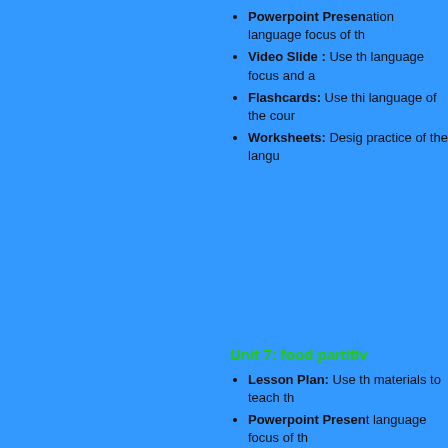Powerpoint Presen... language focus of th...
Video Slide : Use th... language focus and ...
Flashcards: Use thi... language of the cour...
Worksheets: Desig... practice of the langu...
Unit 7:    food partitiv...
Lesson Plan: Use th... materials to teach th...
Powerpoint Presen... language focus of th...
Video Slide : Use th... language focus and ...